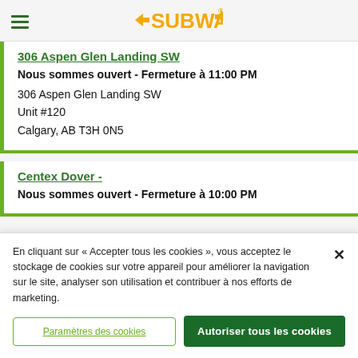SUBWAY
306 Aspen Glen Landing SW
Nous sommes ouvert - Fermeture à 11:00 PM
306 Aspen Glen Landing SW
Unit #120
Calgary, AB T3H 0N5
Centex Dover -
Nous sommes ouvert - Fermeture à 10:00 PM
En cliquant sur « Accepter tous les cookies », vous acceptez le stockage de cookies sur votre appareil pour améliorer la navigation sur le site, analyser son utilisation et contribuer à nos efforts de marketing.
Paramètres des cookies
Autoriser tous les cookies